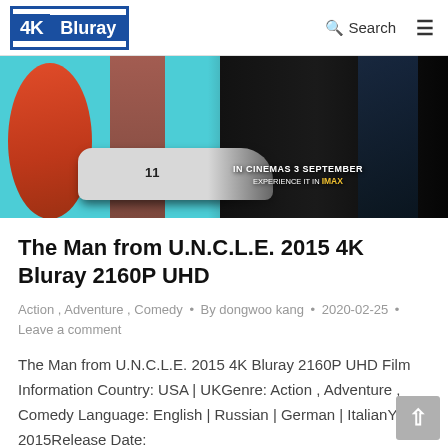4K Bluray | Search | Menu
[Figure (photo): Movie promotional banner for The Man from U.N.C.L.E. 2015 — showing a woman in a red floral dress on the left against a teal background, a white sports car (race car number 11), and two men in suits holding guns on the right against a dark background. Text overlay reads: IN CINEMAS 3 SEPTEMBER / EXPERIENCE IT IN IMAX]
The Man from U.N.C.L.E. 2015 4K Bluray 2160P UHD
Action , Adventure , Comedy • By dongwoo kang • 2020-02-25 • Leave a comment
The Man from U.N.C.L.E. 2015 4K Bluray 2160P UHD Film Information Country: USA | UKGenre: Action , Adventure , Comedy Language: English | Russian | German | ItalianYear: 2015Release Date: